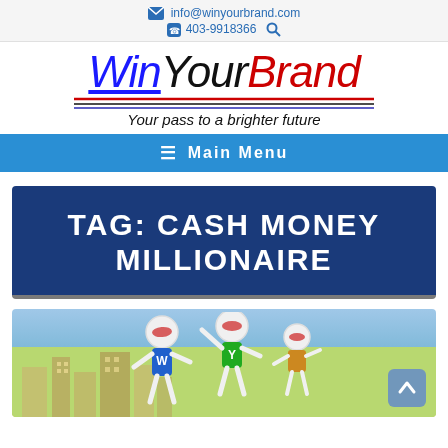info@winyourbrand.com | 403-9918366
[Figure (logo): WinYourBrand logo with stylized colorful text and tagline 'Your pass to a brighter future']
Main Menu
TAG: CASH MONEY MILLIONAIRE
[Figure (illustration): Cartoon superhero stick figures in a cityscape with colorful sky background]